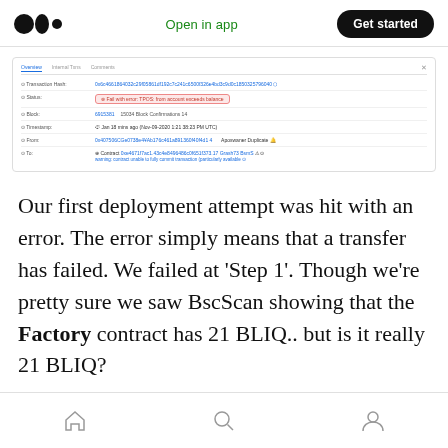Open in app | Get started
[Figure (screenshot): BscScan transaction detail screenshot showing a failed transaction with error status 'Fail with error: TPOS: from account exceeds balance', block info, timestamp, from/to fields]
Our first deployment attempt was hit with an error. The error simply means that a transfer has failed. We failed at ‘Step 1’. Though we’re pretty sure we saw BscScan showing that the Factory contract has 21 BLIQ.. but is it really 21 BLIQ?
Home | Search | Profile